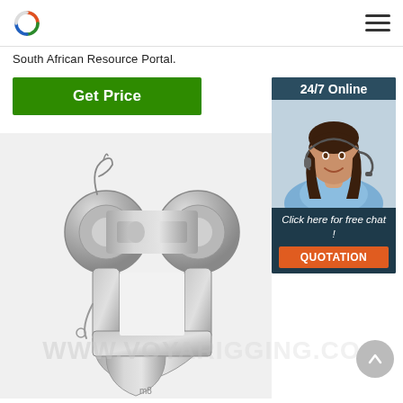South African Resource Portal.
Get Price
[Figure (screenshot): 24/7 Online customer support widget showing a smiling woman with a headset, with text 'Click here for free chat!' and an orange QUOTATION button]
[Figure (photo): Close-up photograph of a galvanized steel clevis or bolt/chain connector hardware with watermark WWW.VOYARIGGING.CO]
WWW.VOYARIGGING.CO